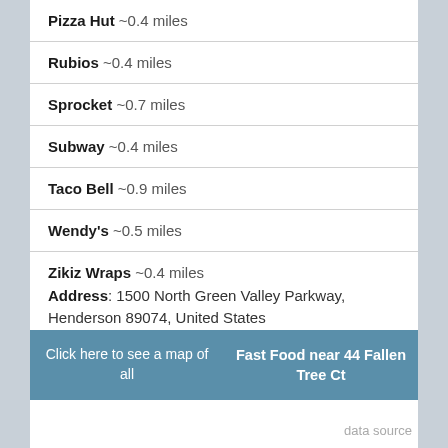Pizza Hut ~0.4 miles
Rubios ~0.4 miles
Sprocket ~0.7 miles
Subway ~0.4 miles
Taco Bell ~0.9 miles
Wendy's ~0.5 miles
Zikiz Wraps ~0.4 miles
Address: 1500 North Green Valley Parkway, Henderson 89074, United States
Phone: 702-565-9727
Click here to see a map of all Fast Food near 44 Fallen Tree Ct
data source